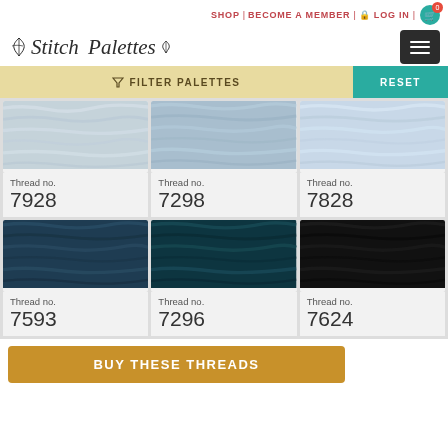SHOP | BECOME A MEMBER | LOG IN | 0
[Figure (logo): Stitch Palettes logo with decorative leaf flourishes]
FILTER PALETTES
RESET
[Figure (photo): Light blue/grey thread swatch - Thread no. 7928]
Thread no. 7928
[Figure (photo): Light blue thread swatch - Thread no. 7298]
Thread no. 7298
[Figure (photo): Very light blue thread swatch - Thread no. 7828]
Thread no. 7828
[Figure (photo): Dark navy blue thread swatch - Thread no. 7593]
Thread no. 7593
[Figure (photo): Dark teal thread swatch - Thread no. 7296]
Thread no. 7296
[Figure (photo): Very dark/black thread swatch - Thread no. 7624]
Thread no. 7624
BUY THESE THREADS